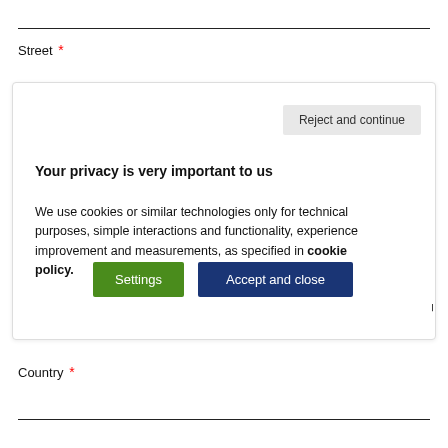Street *
[Figure (screenshot): Cookie consent popup overlay with 'Reject and continue' button, 'Your privacy is very important to us' heading, privacy text about cookies, and two buttons: 'Settings' (green) and 'Accept and close' (dark blue). A vertical 'design first' label appears on the right side.]
Country *